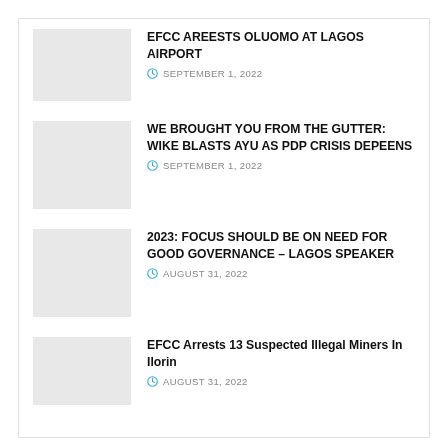EFCC AREESTS OLUOMO AT LAGOS AIRPORT — SEPTEMBER 1, 2022
WE BROUGHT YOU FROM THE GUTTER: WIKE BLASTS AYU AS PDP CRISIS DEPEENS — SEPTEMBER 1, 2022
2023: FOCUS SHOULD BE ON NEED FOR GOOD GOVERNANCE – LAGOS SPEAKER — AUGUST 31, 2022
EFCC Arrests 13 Suspected Illegal Miners In Ilorin — AUGUST 31, 2022